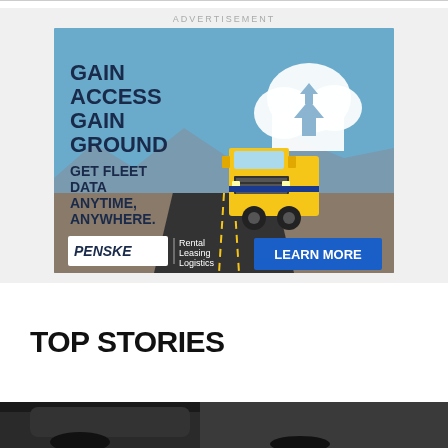ADVERTISEMENT
[Figure (illustration): Penske advertisement: yellow semi-truck on desert highway with cloud/upload icon. Text reads: GAIN ACCESS GAIN GROUND - GET FLEET DATA ANYTIME, ANYWHERE. Penske logo with Rental Leasing Logistics. LEARN MORE button.]
TOP STORIES
[Figure (photo): Partial photo at bottom of page showing a dark vehicle, partially cropped.]